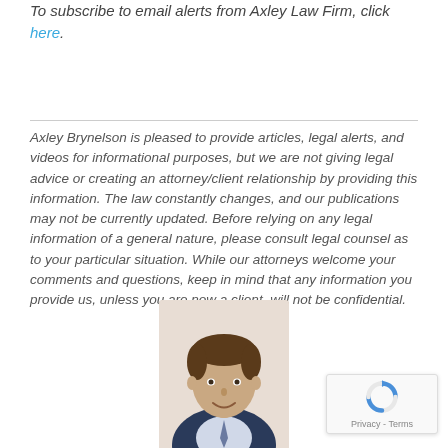To subscribe to email alerts from Axley Law Firm, click here.
Axley Brynelson is pleased to provide articles, legal alerts, and videos for informational purposes, but we are not giving legal advice or creating an attorney/client relationship by providing this information. The law constantly changes, and our publications may not be currently updated. Before relying on any legal information of a general nature, please consult legal counsel as to your particular situation. While our attorneys welcome your comments and questions, keep in mind that any information you provide us, unless you are now a client, will not be confidential.
[Figure (photo): Headshot photo of a man in a suit, smiling, against a white background]